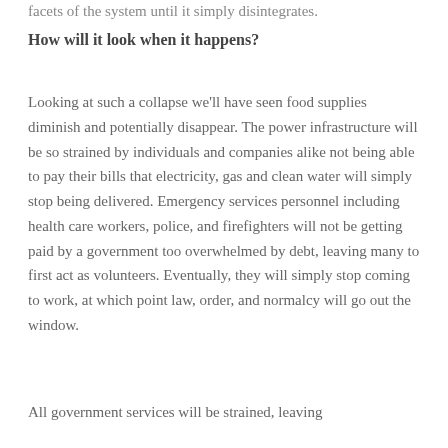facets of the system until it simply disintegrates.
How will it look when it happens?
Looking at such a collapse we'll have seen food supplies diminish and potentially disappear. The power infrastructure will be so strained by individuals and companies alike not being able to pay their bills that electricity, gas and clean water will simply stop being delivered. Emergency services personnel including health care workers, police, and firefighters will not be getting paid by a government too overwhelmed by debt, leaving many to first act as volunteers. Eventually, they will simply stop coming to work, at which point law, order, and normalcy will go out the window.
All government services will be strained, leaving